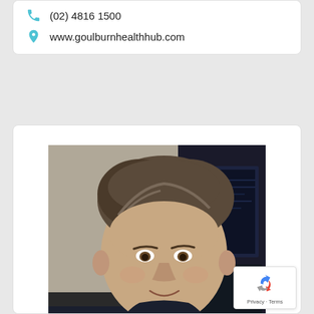(02) 4816 1500
www.goulburnhealthhub.com
[Figure (photo): Headshot of a middle-aged man with grey-brown hair, smiling slightly, wearing a dark navy top, seated in front of computer monitors.]
Privacy · Terms